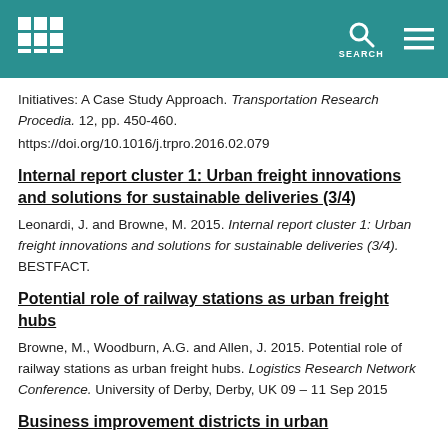[Header bar with grid logo and SEARCH icon]
Initiatives: A Case Study Approach. Transportation Research Procedia. 12, pp. 450-460. https://doi.org/10.1016/j.trpro.2016.02.079
Internal report cluster 1: Urban freight innovations and solutions for sustainable deliveries (3/4)
Leonardi, J. and Browne, M. 2015. Internal report cluster 1: Urban freight innovations and solutions for sustainable deliveries (3/4). BESTFACT.
Potential role of railway stations as urban freight hubs
Browne, M., Woodburn, A.G. and Allen, J. 2015. Potential role of railway stations as urban freight hubs. Logistics Research Network Conference. University of Derby, Derby, UK 09 – 11 Sep 2015
Business improvement districts in urban